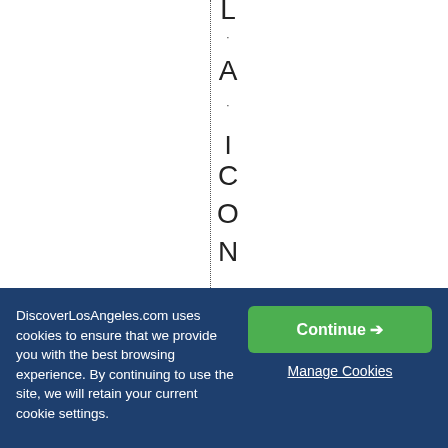L . A . I C O N 0 5 / 1 6 / 2 0
DiscoverLosAngeles.com uses cookies to ensure that we provide you with the best browsing experience. By continuing to use the site, we will retain your current cookie settings.
Continue →
Manage Cookies